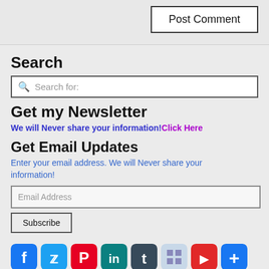Post Comment
Search
Search for:
Get my Newsletter
We will Never share your information! Click Here
Get Email Updates
Enter your email address. We will Never share your information!
Email Address
Subscribe
[Figure (infographic): Social media icons: Facebook (blue), Twitter (blue), Pinterest (red), LinkedIn (teal), Tumblr (dark), Windows/Microsoft (light blue grid), Flipboard (red), Add/More (blue with plus)]
Categories